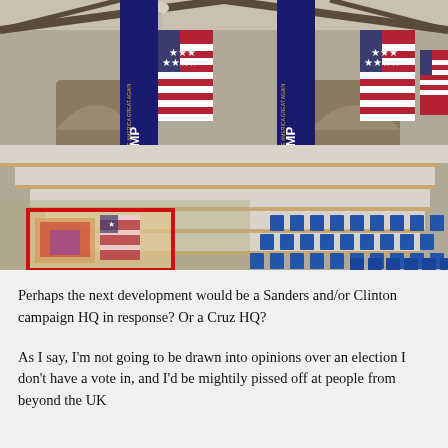[Figure (photo): A rendered or illustrated interior venue scene showing bleacher-style tiered seating, rows of blue folding chairs on the floor, Trump campaign banners ('TRUMP / MAKE AMERICA GREAT AGAIN') hanging vertically, and American flags. In the lower left corner a small illustrated figure or mascot with a red border is visible.]
Perhaps the next development would be a Sanders and/or Clinton campaign HQ in response? Or a Cruz HQ?
As I say, I'm not going to be drawn into opinions over an election I don't have a vote in, and I'd be mightily pissed off at people from beyond the UK